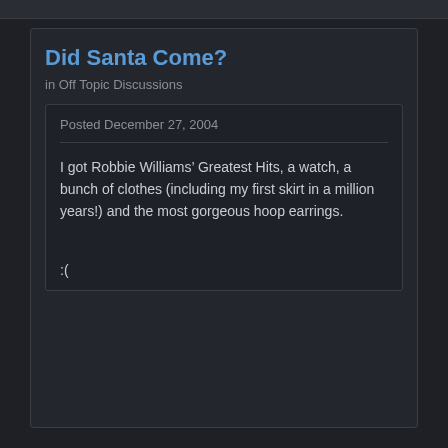Did Santa Come?
in Off Topic Discussions
Posted December 27, 2004
I got Robbie Williams’ Greatest Hits, a watch, a bunch of clothes (including my first skirt in a million years!) and the most gorgeous hoop earrings.
:(